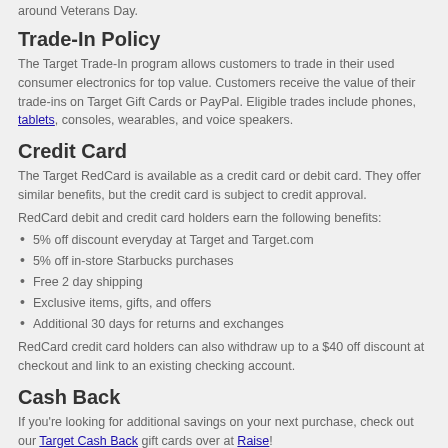around Veterans Day.
Trade-In Policy
The Target Trade-In program allows customers to trade in their used consumer electronics for top value. Customers receive the value of their trade-ins on Target Gift Cards or PayPal. Eligible trades include phones, tablets, consoles, wearables, and voice speakers.
Credit Card
The Target RedCard is available as a credit card or debit card. They offer similar benefits, but the credit card is subject to credit approval.
RedCard debit and credit card holders earn the following benefits:
5% off discount everyday at Target and Target.com
5% off in-store Starbucks purchases
Free 2 day shipping
Exclusive items, gifts, and offers
Additional 30 days for returns and exchanges
RedCard credit card holders can also withdraw up to a $40 off discount at checkout and link to an existing checking account.
Cash Back
If you're looking for additional savings on your next purchase, check out our Target Cash Back gift cards over at Raise!